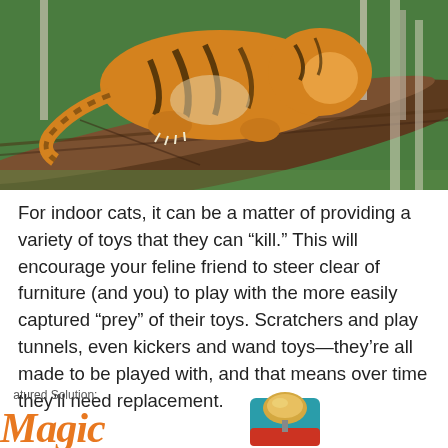[Figure (photo): A tiger crouching and gripping a large fallen tree trunk, with green forest background.]
For indoor cats, it can be a matter of providing a variety of toys that they can “kill.” This will encourage your feline friend to steer clear of furniture (and you) to play with the more easily captured “prey” of their toys. Scratchers and play tunnels, even kickers and wand toys—they’re all made to be played with, and that means over time they’ll need replacement.
Featured Solution:
[Figure (logo): Magic brand logo in orange cursive script]
[Figure (illustration): Colorful cartoon product illustration showing a cat toy]